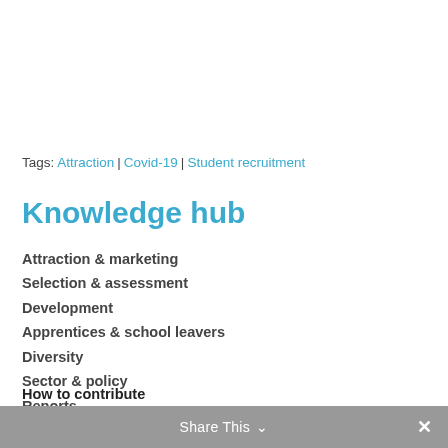Tags: Attraction | Covid-19 | Student recruitment
Knowledge hub
Attraction & marketing
Selection & assessment
Development
Apprentices & school leavers
Diversity
Sector & policy
Reports
How to contribute
Share This ×